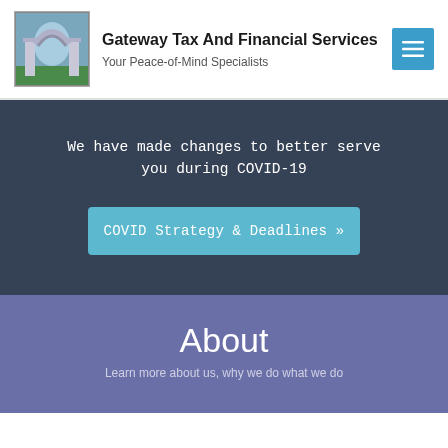[Figure (logo): Gateway arch illustration logo — a stained-glass style arch with pillars and blue sky]
Gateway Tax And Financial Services
Your Peace-of-Mind Specialists
We have made changes to better serve you during COVID-19
COVID Strategy & Deadlines »
About
Learn more about us, why we do what we do